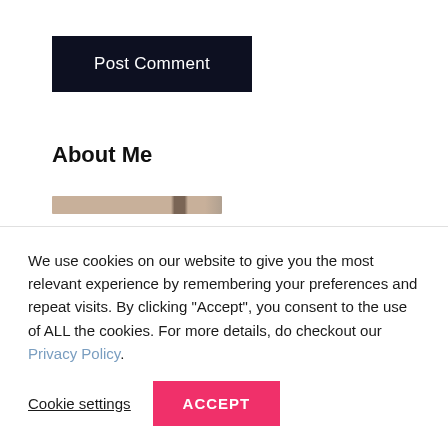Post Comment
About Me
[Figure (photo): A partial horizontal image strip showing a beige/tan toned photo, partially visible]
We use cookies on our website to give you the most relevant experience by remembering your preferences and repeat visits. By clicking “Accept”, you consent to the use of ALL the cookies. For more details, do checkout our Privacy Policy.
Cookie settings
ACCEPT